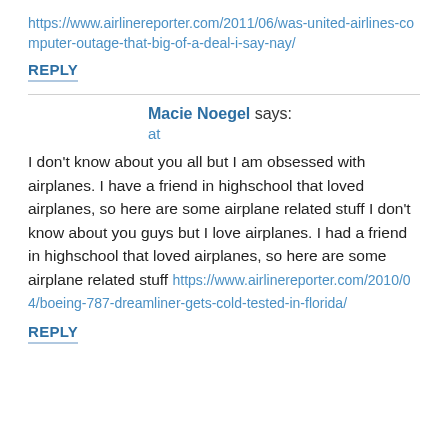https://www.airlinereporter.com/2011/06/was-united-airlines-computer-outage-that-big-of-a-deal-i-say-nay/
REPLY
Macie Noegel says:
at
I don't know about you all but I am obsessed with airplanes. I have a friend in highschool that loved airplanes, so here are some airplane related stuff I don't know about you guys but I love airplanes. I had a friend in highschool that loved airplanes, so here are some airplane related stuff https://www.airlinereporter.com/2010/04/boeing-787-dreamliner-gets-cold-tested-in-florida/
REPLY